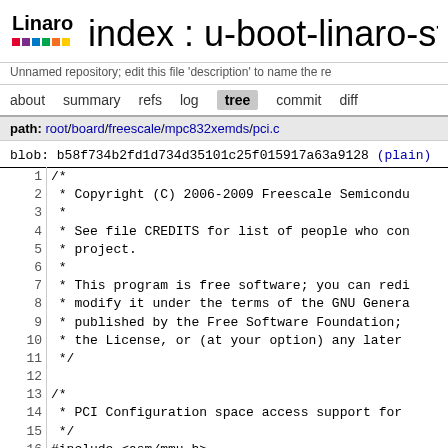index : u-boot-linaro-sta
Unnamed repository; edit this file 'description' to name the re
about  summary  refs  log  tree  commit  diff
path: root/board/freescale/mpc832xemds/pci.c
blob: b58f734b2fd1d734d35101c25f015917a63a9128 (plain)
1  /*
2   * Copyright (C) 2006-2009 Freescale Semicon
3   *
4   * See file CREDITS for list of people who co
5   * project.
6   *
7   * This program is free software; you can redi
8   * modify it under the terms of the GNU Genera
9   * published by the Free Software Foundation;
10   * the License, or (at your option) any later
11   */
12
13  /*
14   * PCI Configuration space access support for
15   */
16  #include <asm/mmu.h>
17  #include <asm/io.h>